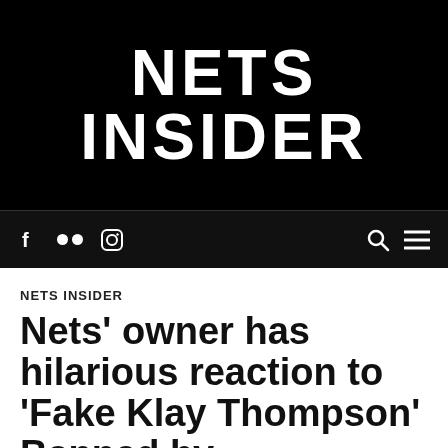NETS INSIDER
f [flickr] [instagram] [search] [menu]
NETS INSIDER
Nets' owner has hilarious reaction to 'Fake Klay Thompson' Banned by